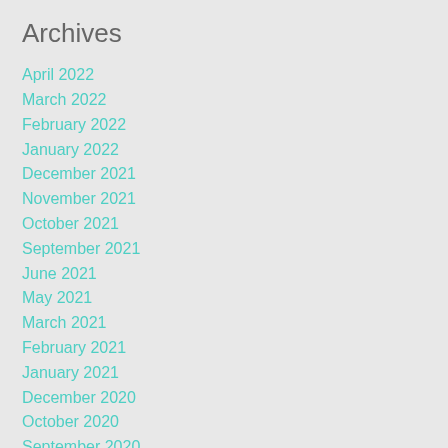Archives
April 2022
March 2022
February 2022
January 2022
December 2021
November 2021
October 2021
September 2021
June 2021
May 2021
March 2021
February 2021
January 2021
December 2020
October 2020
September 2020
February 2020